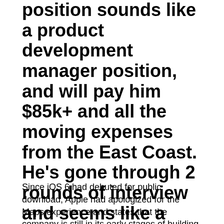position sounds like a product development manager position, and will pay him $85k+ and all the moving expenses from the East Coast. He's gone through 2 rounds of interview and seems like a frontrunner to land that position.
Since iOS 6 had debuted for public download, Apple had apologized for the Maps experience and states that the company is still in its early stages of building the mapping